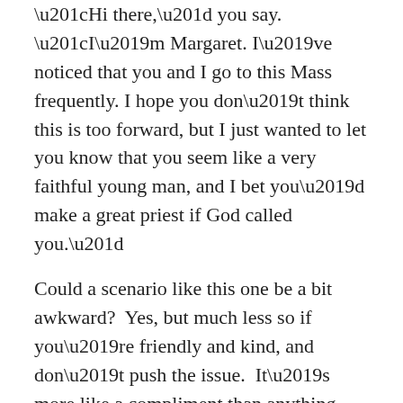“Hi there,” you say. “I’m Margaret. I’ve noticed that you and I go to this Mass frequently. I hope you don’t think this is too forward, but I just wanted to let you know that you seem like a very faithful young man, and I bet you’d make a great priest if God called you.”
Could a scenario like this one be a bit awkward?  Yes, but much less so if you’re friendly and kind, and don’t push the issue.  It’s more like a compliment than anything else.  The man may even blush for a moment, but this much is certain: he’ll never forget it.  And later on, the thought may take root and begin to grow.
Needless to say, “Hey Johnny—you’d look good in black” is not the right way to plant seeds. It